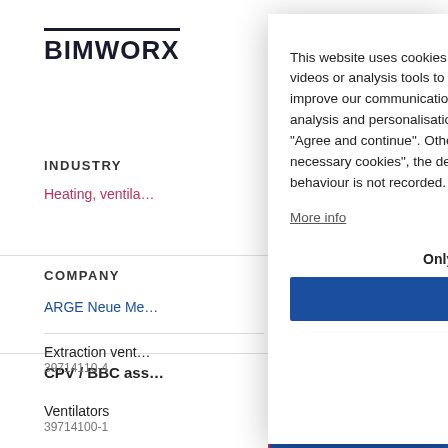BIMWORX
INDUSTRY
Heating, ventila…
COMPANY
ARGE Neue Me…
CPV / BBC ass…
Ventilators
39714100-1
Extraction vent…
39714110-4
Water heaters and heating for buildings; plumbing equipment
This website uses cookies and external components such as fonts, maps, videos or analysis tools to help you get the most out of our website and to improve our communication with you. We only process data for marketing, analysis and personalisation if you give us your consent by clicking on "Agree and continue". Otherwise, by clicking on "Use only technically necessary cookies", the desired settings are set and your surfing behaviour is not recorded.
More info
Only technically necessary
Agree and continue
LOG IN   SIGN IN